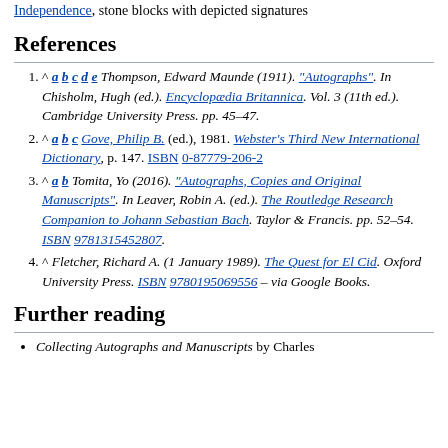Independence, stone blocks with depicted signatures
References
^ a b c d e Thompson, Edward Maunde (1911). "Autographs". In Chisholm, Hugh (ed.). Encyclopædia Britannica. Vol. 3 (11th ed.). Cambridge University Press. pp. 45–47.
^ a b c Gove, Philip B. (ed.), 1981. Webster's Third New International Dictionary, p. 147. ISBN 0-87779-206-2
^ a b Tomita, Yo (2016). "Autographs, Copies and Original Manuscripts". In Leaver, Robin A. (ed.). The Routledge Research Companion to Johann Sebastian Bach. Taylor & Francis. pp. 52–54. ISBN 9781315452807.
^ Fletcher, Richard A. (1 January 1989). The Quest for El Cid. Oxford University Press. ISBN 9780195069556 – via Google Books.
Further reading
Collecting Autographs and Manuscripts by Charles